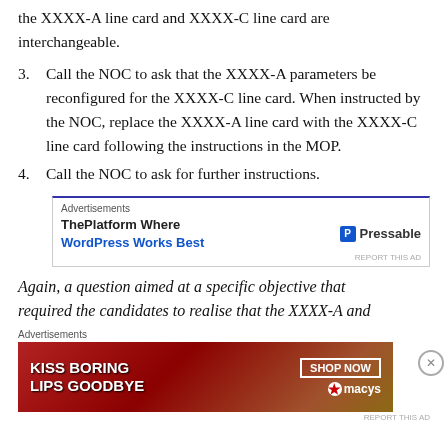the XXXX-A line card and XXXX-C line card are interchangeable.
3. Call the NOC to ask that the XXXX-A parameters be reconfigured for the XXXX-C line card. When instructed by the NOC, replace the XXXX-A line card with the XXXX-C line card following the instructions in the MOP.
4. Call the NOC to ask for further instructions.
[Figure (screenshot): Advertisement banner: ThePlatform Where WordPress Works Best | Pressable]
Again, a question aimed at a specific objective that required the candidates to realise that the XXXX-A and
[Figure (screenshot): Advertisement banner: KISS BORING LIPS GOODBYE - SHOP NOW - macys]